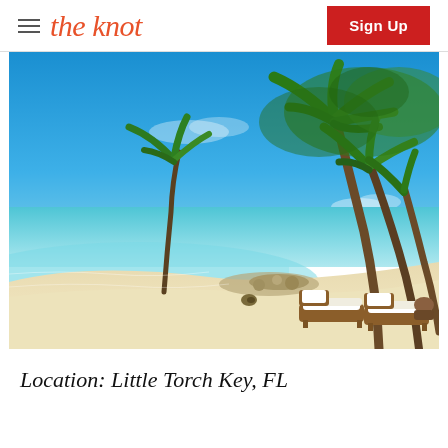the knot | Sign Up
[Figure (photo): Tropical beach scene with clear turquoise water, white sand, palm trees, and two lounge chairs with white cushions at Little Torch Key, FL]
Location: Little Torch Key, FL